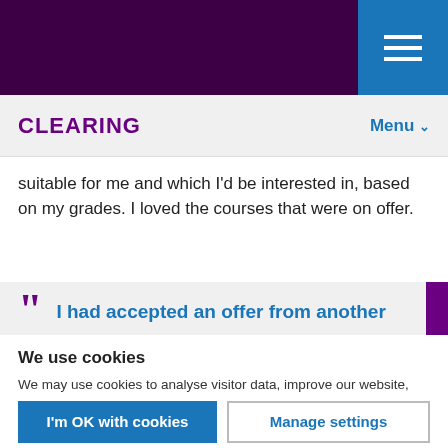CLEARING | Menu
suitable for me and which I’d be interested in, based on my grades. I loved the courses that were on offer.
“” I had accepted an offer from another
We use cookies
We may use cookies to analyse visitor data, improve our website, show personalised content and give you a great website experience. For more information about cookies on our site and to tailor the cookies we collect, select ‘Manage settings’.
I’m OK with cookies
Manage settings